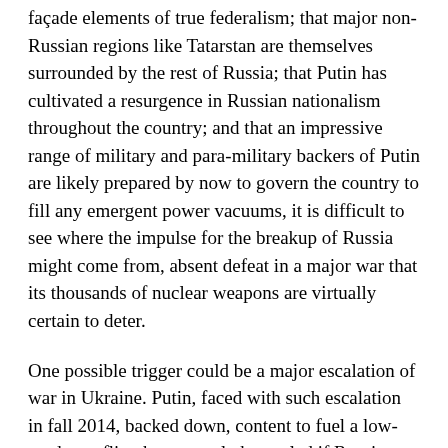façade elements of true federalism; that major non-Russian regions like Tatarstan are themselves surrounded by the rest of Russia; that Putin has cultivated a resurgence in Russian nationalism throughout the country; and that an impressive range of military and para-military backers of Putin are likely prepared by now to govern the country to fill any emergent power vacuums, it is difficult to see where the impulse for the breakup of Russia might come from, absent defeat in a major war that its thousands of nuclear weapons are virtually certain to deter.
One possible trigger could be a major escalation of war in Ukraine. Putin, faced with such escalation in fall 2014, backed down, content to fuel a low-grade conflict that can only be settled if Russia agrees to it. But there are many in Russia who do not share Putin's cold realism, his caution about overcommitment, and his keen awareness of Russia's relative weakness in world affairs. Were Putin to disappear from the scene, and were the Russian military to seize decision-making clout, an Afghanistan or Vietnam might emerge on Russia's western frontier, which now intersect with